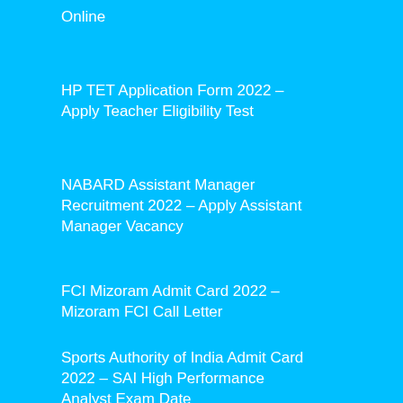Online
HP TET Application Form 2022 – Apply Teacher Eligibility Test
NABARD Assistant Manager Recruitment 2022 – Apply Assistant Manager Vacancy
FCI Mizoram Admit Card 2022 – Mizoram FCI Call Letter
Sports Authority of India Admit Card 2022 – SAI High Performance Analyst Exam Date